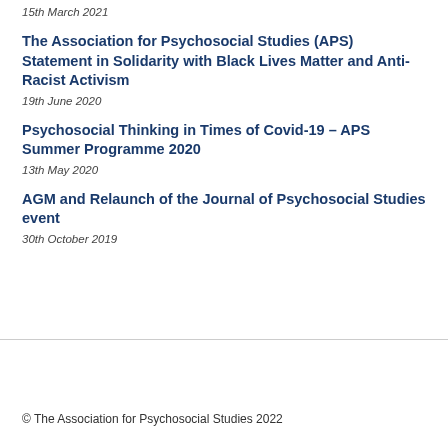15th March 2021
The Association for Psychosocial Studies (APS) Statement in Solidarity with Black Lives Matter and Anti-Racist Activism
19th June 2020
Psychosocial Thinking in Times of Covid-19 – APS Summer Programme 2020
13th May 2020
AGM and Relaunch of the Journal of Psychosocial Studies event
30th October 2019
© The Association for Psychosocial Studies 2022